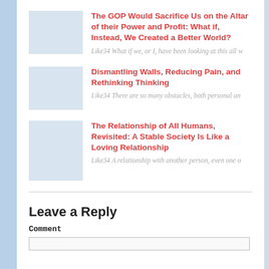The GOP Would Sacrifice Us on the Altar of their Power and Profit: What if, Instead, We Created a Better World?
Like34 What if we, or I, have been looking at this all w
Dismantling Walls, Reducing Pain, and Rethinking Thinking
Like34 There are so many obstacles, both personal an
The Relationship of All Humans, Revisited: A Stable Society Is Like a Loving Relationship
Like34 A relationship with another person, even one o
Leave a Reply
Comment